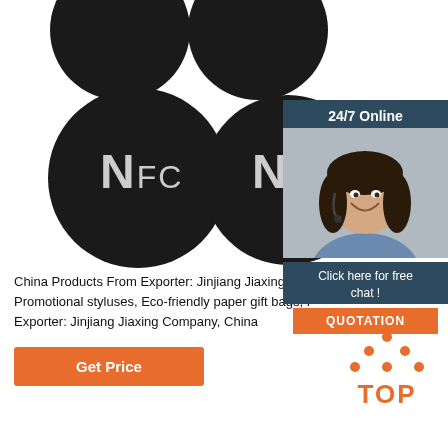[Figure (photo): Three black NFC coin tags/discs with white NFC lettering, arranged in a triangular cluster against a white background]
[Figure (infographic): 24/7 online chat widget showing a smiling woman wearing a headset, with text 'Click here for free chat!' and an orange QUOTATION button]
China Products From Exporter: Jinjiang Jiaxing Company, China Promotional styluses, Eco-friendly paper gift bags, Products From Exporter: Jinjiang Jiaxing Company, China
[Figure (illustration): Orange GET PRICE button]
[Figure (logo): Orange TOP logo with dot triangle above the word TOP]